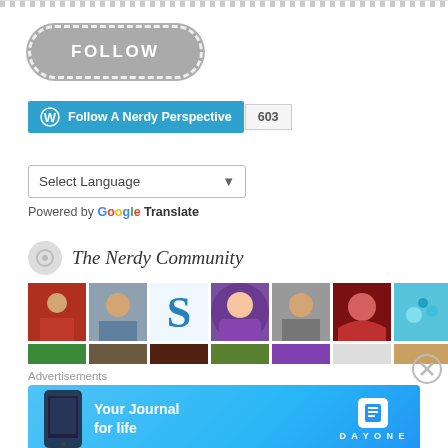[Figure (screenshot): Top decorative dashed bar element]
[Figure (screenshot): Gray rounded FOLLOW button with dashed white border]
[Figure (screenshot): WordPress Follow A Nerdy Perspective button (blue) with follower count 603]
[Figure (screenshot): Select Language dropdown with Google Translate branding]
The Nerdy Community
[Figure (screenshot): Grid of community member avatar images]
Advertisements
[Figure (screenshot): Day One - Your Journal for life advertisement banner]